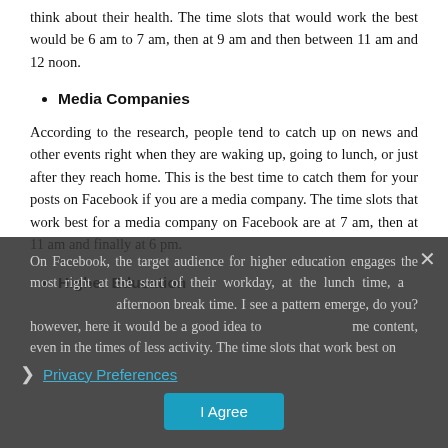think about their health. The time slots that would work the best would be 6 am to 7 am, then at 9 am and then between 11 am and 12 noon.
Media Companies
According to the research, people tend to catch up on news and other events right when they are waking up, going to lunch, or just after they reach home. This is the best time to catch them for your posts on Facebook if you are a media company. The time slots that work best for a media company on Facebook are at 7 am, then at 11 am and finally at 6 pm.
Higher Education
On Facebook, the target audience for higher education engages the most right at the start of their workday, at the lunch time, and afternoon break time. I see a pattern emerge, do you? however, here it would be a good idea to time content, even in the times of less activity. The time slots that work best on